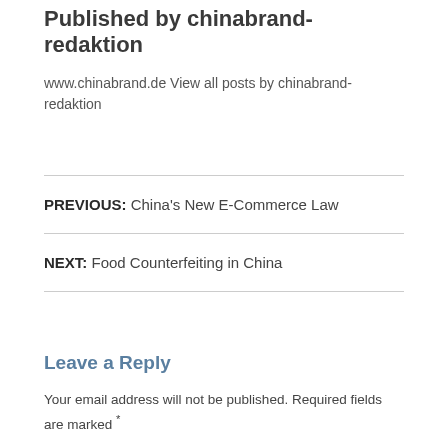Published by chinabrand-redaktion
www.chinabrand.de View all posts by chinabrand-redaktion
PREVIOUS: China's New E-Commerce Law
NEXT: Food Counterfeiting in China
Leave a Reply
Your email address will not be published. Required fields are marked *